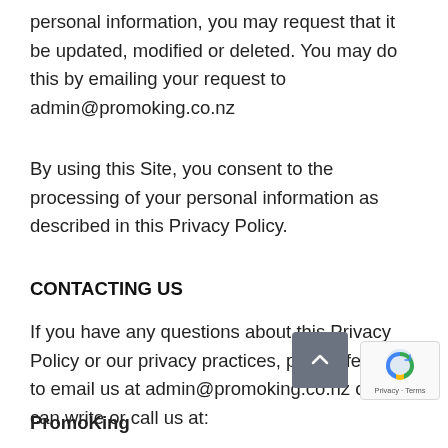personal information, you may request that it be updated, modified or deleted. You may do this by emailing your request to admin@promoking.co.nz
By using this Site, you consent to the processing of your personal information as described in this Privacy Policy.
CONTACTING US
If you have any questions about this Privacy Policy or our privacy practices, please feel free to email us at admin@promoking.co.nz or you can write or call us at:
PromoKing